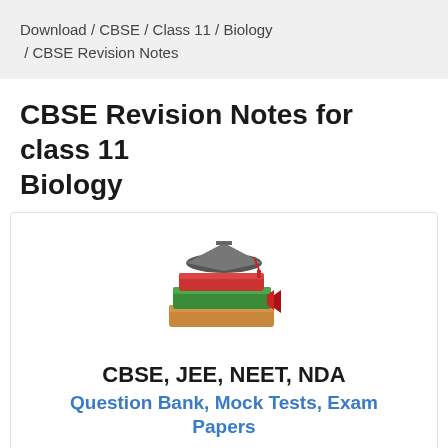Download / CBSE / Class 11 / Biology / CBSE Revision Notes
CBSE Revision Notes for class 11 Biology
[Figure (illustration): Stack of books with graduation cap on top, colorful illustration]
CBSE, JEE, NEET, NDA
Question Bank, Mock Tests, Exam Papers